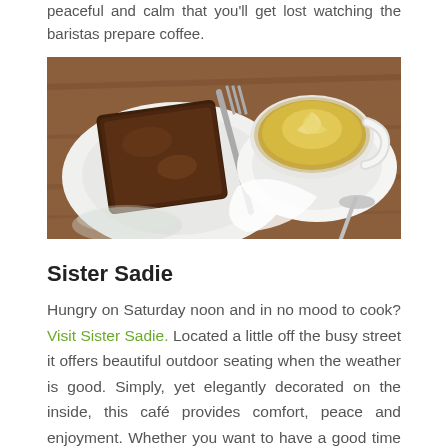peaceful and calm that you'll get lost watching the baristas prepare coffee.
[Figure (photo): Overhead view of a chocolate brownie on a white plate with a fork, next to a cappuccino with latte art in a white cup and saucer on a wooden table.]
Sister Sadie
Hungry on Saturday noon and in no mood to cook? Visit Sister Sadie. Located a little off the busy street it offers beautiful outdoor seating when the weather is good. Simply, yet elegantly decorated on the inside, this café provides comfort, peace and enjoyment. Whether you want to have a good time with friends or want to spend quality time alone, there is a whole lot this café offers. A treat for Hot